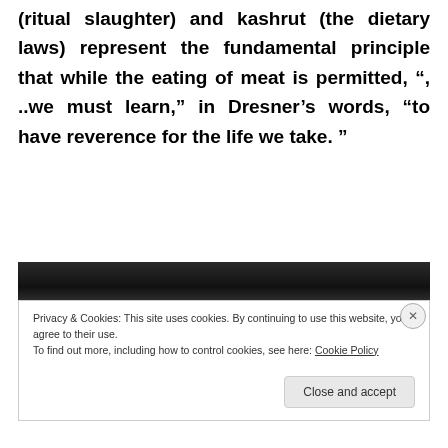(ritual slaughter) and kashrut (the dietary laws) represent the fundamental principle that while the eating of meat is permitted, ", ..we must learn," in Dresner’s words, “to have reverence for the life we take. "
[Figure (photo): Dark photo strip showing partial view of people or crowd, black and white tones]
Privacy & Cookies: This site uses cookies. By continuing to use this website, you agree to their use.
To find out more, including how to control cookies, see here: Cookie Policy